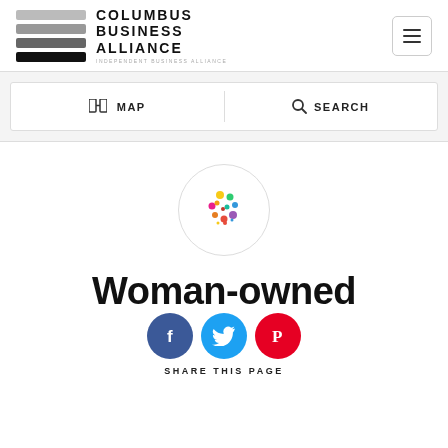[Figure (logo): Columbus Business Alliance logo with stacked colored bars and text. INDEPENDENT BUSINESS ALLIANCE subtitle.]
[Figure (other): Hamburger menu button (three horizontal lines) in a rounded rectangle]
MAP
SEARCH
[Figure (logo): Colorful abstract people/dots logo in a circle]
Woman-owned
[Figure (infographic): Social share icons: Facebook (blue), Twitter (cyan), Pinterest (red)]
SHARE THIS PAGE